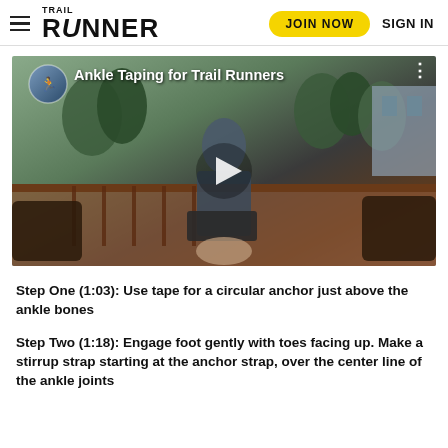Trail Runner — JOIN NOW   SIGN IN
[Figure (screenshot): Video thumbnail for 'Ankle Taping for Trail Runners' showing a person sitting on outdoor wicker furniture on a deck, with trees and a building in the background. A play button is centered over the image. A small circular thumbnail of a trail runner is in the top-left with the video title.]
Step One (1:03): Use tape for a circular anchor just above the ankle bones
Step Two (1:18): Engage foot gently with toes facing up. Make a stirrup strap starting at the anchor strap, over the center line of the ankle joints